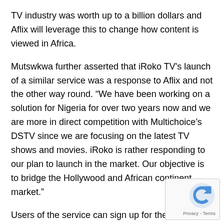TV industry was worth up to a billion dollars and Aflix will leverage this to change how content is viewed in Africa.
Mutswkwa further asserted that iRoko TV's launch of a similar service was a response to Aflix and not the other way round. “We have been working on a solution for Nigeria for over two years now and we are more in direct competition with Multichoice’s DSTV since we are focusing on the latest TV shows and movies. iRoko is rather responding to our plan to launch in the market. Our objective is to bridge the Hollywood and African continent market.”
Users of the service can sign up for the service and get a two week free trial after which they can subscribe fully at the rate of about N1,600 ($9.99) per month. Alternatively, users may decide to use the pay-per-view option wh
[Figure (other): reCAPTCHA badge with circular arrow icon and Privacy - Terms text]